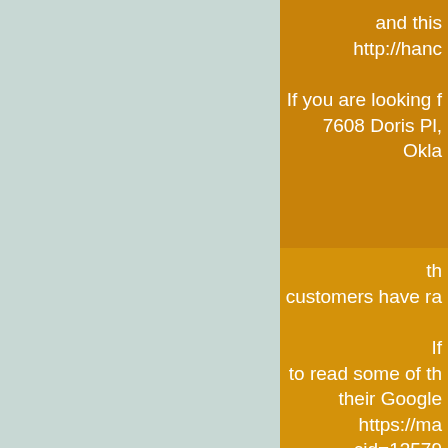and this
http://hand
If you are looking f
7608 Doris Pl, Okla
th
customers have ra
If
to read some of th
their Google
https://ma
cid=13579